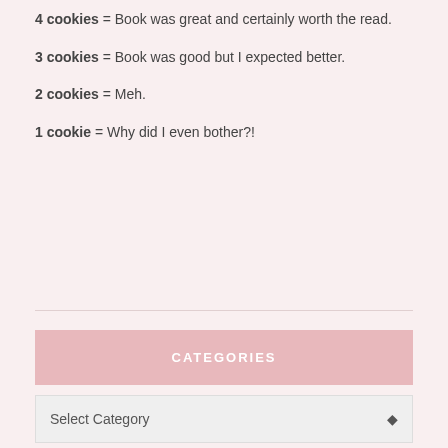4 cookies = Book was great and certainly worth the read.
3 cookies = Book was good but I expected better.
2 cookies = Meh.
1 cookie = Why did I even bother?!
CATEGORIES
Select Category
INSTAGRAM
[Figure (photo): Instagram photo showing book covers with moon and celestial imagery on dark background]